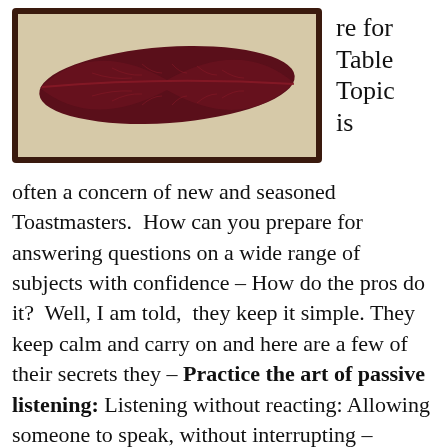[Figure (photo): A framed dark reddish-brown leaf displayed against a light beige/linen background in a dark wooden frame.]
re for Table Topic is
often a concern of new and seasoned Toastmasters.  How can you prepare for answering questions on a wide range of subjects with confidence – How do the pros do it?  Well, I am told,  they keep it simple. They keep calm and carry on and here are a few of their secrets they – Practice the art of passive listening: Listening without reacting: Allowing someone to speak, without interrupting – Silencing the noise in their head. Not doing anything else at the same time – Not an easy skill for some of us to master